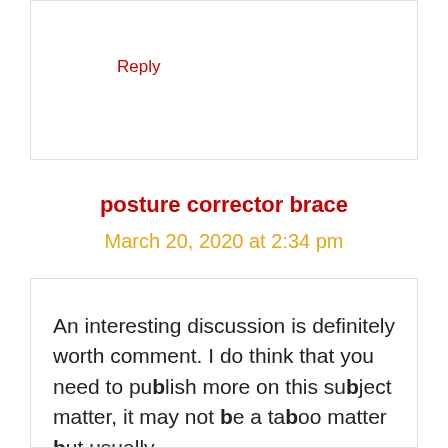Reply
posture corrector brace
March 20, 2020 at 2:34 pm
An interesting discussion is definitely worth comment. I do think that you need to publish more on this subject matter, it may not be a taboo matter but usually